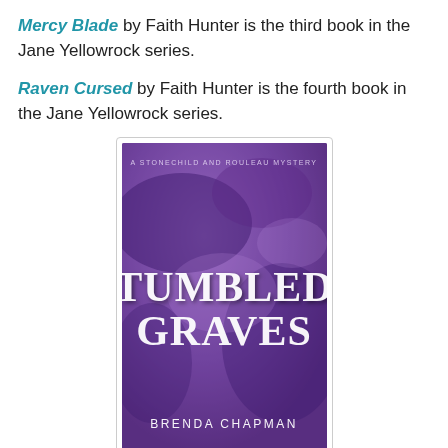Mercy Blade by Faith Hunter is the third book in the Jane Yellowrock series.
Raven Cursed by Faith Hunter is the fourth book in the Jane Yellowrock series.
[Figure (photo): Book cover of 'Tumbled Graves' by Brenda Chapman. Purple textured background with title 'TUMBLED GRAVES' in large white serif text and subtitle 'A Stonechild and Rouleau Mystery' at the top. Author name 'BRENDA CHAPMAN' at the bottom.]
I was browsing NetGalley and found Tumbled Graves by Brenda Chapman on my auto-approved list. It sounded like a good mystery but it is the third book in a series.